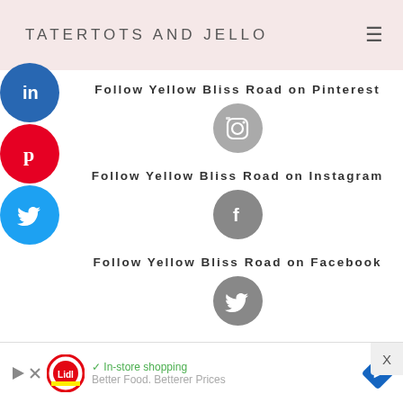TATERTOTS AND JELLO
[Figure (other): LinkedIn circle icon button on sidebar]
[Figure (other): Pinterest circle icon button on sidebar]
[Figure (other): Twitter circle icon button on sidebar]
Follow Yellow Bliss Road on Pinterest
[Figure (other): Instagram camera icon in gray circle]
Follow Yellow Bliss Road on Instagram
[Figure (other): Facebook f icon in gray circle]
Follow Yellow Bliss Road on Facebook
[Figure (other): Twitter bird icon in gray circle]
Follow Yellow Bliss Road on Twitter
[Figure (other): Lidl advertisement banner with shopping info and navigation arrow]